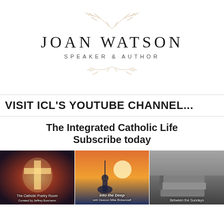[Figure (logo): Joan Watson Speaker & Author logo with decorative branch illustrations above and below the name]
VISIT ICL'S YOUTUBE CHANNEL...
The Integrated Catholic Life Subscribe today
[Figure (photo): Three YouTube channel thumbnail images side by side: The Catholic Poetry Room, Into the Deep with Deacon Mike Bickerstaff, and Between the Sundays]